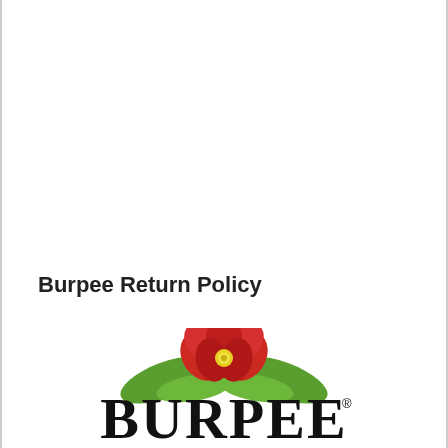Burpee Return Policy
[Figure (logo): Burpee brand logo featuring a large red flower with yellow center, green leaves, and the word BURPEE in large bold black serif letters with a registered trademark symbol]